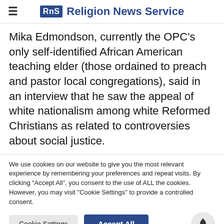RNS Religion News Service
Mika Edmondson, currently the OPC’s only self-identified African American teaching elder (those ordained to preach and pastor local congregations), said in an interview that he saw the appeal of white nationalism among white Reformed Christians as related to controversies about social justice.
We use cookies on our website to give you the most relevant experience by remembering your preferences and repeat visits. By clicking “Accept All”, you consent to the use of ALL the cookies. However, you may visit "Cookie Settings" to provide a controlled consent.